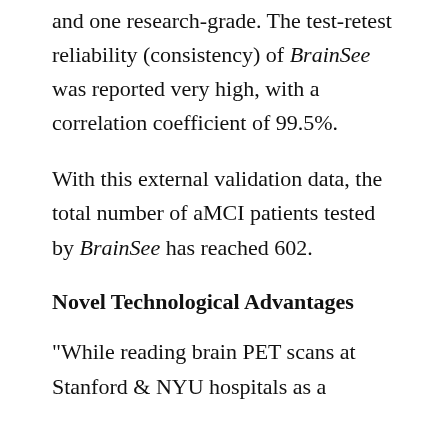and one research-grade. The test-retest reliability (consistency) of BrainSee was reported very high, with a correlation coefficient of 99.5%.
With this external validation data, the total number of aMCI patients tested by BrainSee has reached 602.
Novel Technological Advantages
"While reading brain PET scans at Stanford & NYU hospitals as a